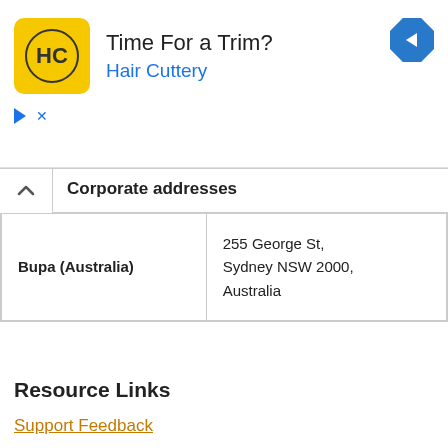[Figure (infographic): Hair Cuttery advertisement banner with logo, 'Time For a Trim?' headline, 'Hair Cuttery' subheading, and a blue navigation arrow icon]
Corporate addresses
| Bupa (Australia) | 255 George St, Sydney NSW 2000, Australia |
Resource Links
Support Feedback